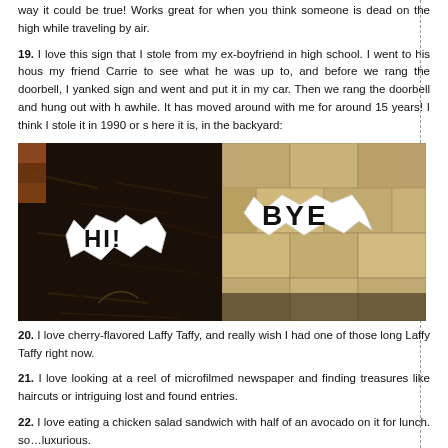way it could be true! Works great for when you think someone is dead on the high while traveling by air.
19. I love this sign that I stole from my ex-boyfriend in high school. I went to his hous my friend Carrie to see what he was up to, and before we rang the doorbell, I yanked sign and went and put it in my car. Then we rang the doorbell and hung out with h awhile. It has moved around with me for around 15 years! I think I stole it in 1990 or s here it is, in the backyard:
[Figure (photo): Two photos side by side showing garden signs in dark mulch. Left photo shows a white sign reading 'HI!' and right photo shows a white sign reading 'BYE' on a brighter background with stone pavers.]
20. I love cherry-flavored Laffy Taffy, and really wish I had one of those long Laffy Taffy right now.
21. I love looking at a reel of microfilmed newspaper and finding treasures like haircuts or intriguing lost and found entries.
22. I love eating a chicken salad sandwich with half of an avocado on it for lunch. so…luxurious.
23. I love reading my painful, excrutiating diaries from middle school, high school, c and beyond. It's a pretty good record of how things about me have changed — su